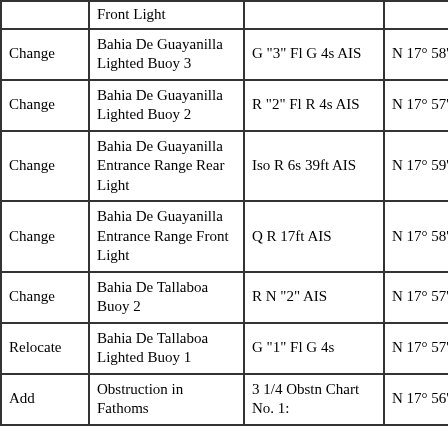| Action | Name | Characteristic | Latitude | Longitude (partial) |
| --- | --- | --- | --- | --- |
|  | Front Light |  |  |  |
| Change | Bahia De Guayanilla Lighted Buoy 3 | G "3" Fl G 4s AIS | N 17° 58' 02.696" | W 06 |
| Change | Bahia De Guayanilla Lighted Buoy 2 | R "2" Fl R 4s AIS | N 17° 57' 58.018" | W 06 |
| Change | Bahia De Guayanilla Entrance Range Rear Light | Iso R 6s 39ft AIS | N 17° 59' 06.987" | W 06 |
| Change | Bahia De Guayanilla Entrance Range Front Light | Q R 17ft AIS | N 17° 58' 36.849" | W 06 |
| Change | Bahia De Tallaboa Buoy 2 | R N "2" AIS | N 17° 57' 41.089" | W 06 |
| Relocate | Bahia De Tallaboa Lighted Buoy 1 | G "1" Fl G 4s | N 17° 57' 42.649" | W 06 |
| Add | Obstruction in Fathoms | 3 1/4 Obstn Chart No. 1: | N 17° 56' 51.200" | W 06 |